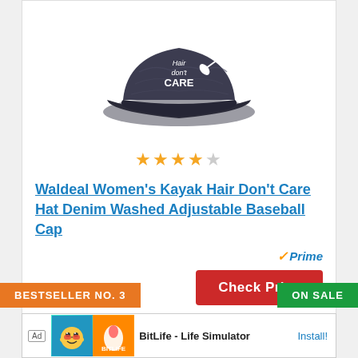[Figure (photo): Dark grey denim baseball cap with white embroidered text reading 'Hair don't CARE' with a kayak paddle graphic]
★★★★☆ (4 stars)
Waldeal Women's Kayak Hair Don't Care Hat Denim Washed Adjustable Baseball Cap
✓Prime
Check Price
BESTSELLER NO. 3
ON SALE
Ad  BitLife - Life Simulator  Install!